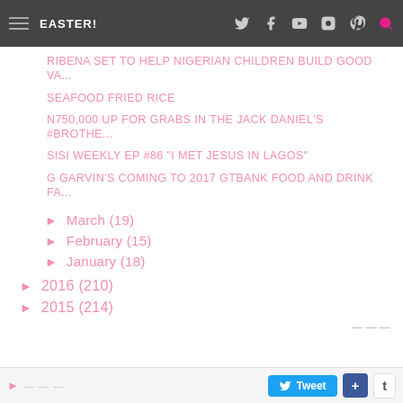EASTER! [nav icons: Twitter, Facebook, YouTube, Instagram, Pinterest, Search]
RIBENA SET TO HELP NIGERIAN CHILDREN BUILD GOOD VA...
SEAFOOD FRIED RICE
N750,000 UP FOR GRABS IN THE JACK DANIEL's #Brothe...
SISI WEEKLY EP #86 "I MET JESUS IN LAGOS"
G GARVIN'S COMING TO 2017 GTBANK FOOD AND DRINK FA...
► March (19)
► February (15)
► January (18)
► 2016 (210)
► 2015 (214)
Tweet + t